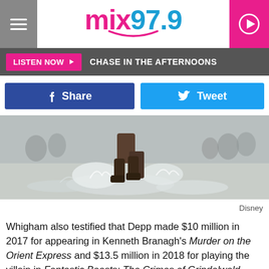mix979 — LISTEN NOW | CHASE IN THE AFTERNOONS
Share   Tweet
[Figure (photo): Action photo of a person running through water/waves, splashing, with boots visible. Background shows a crowd or troops.]
Disney
Whigham also testified that Depp made $10 million in 2017 for appearing in Kenneth Branagh's Murder on the Orient Express and $13.5 million in 2018 for playing the villain in Fantastic Beasts: The Crimes of Grindelwald. After Depp lost a court case in England involving Heard's allegations, Warner